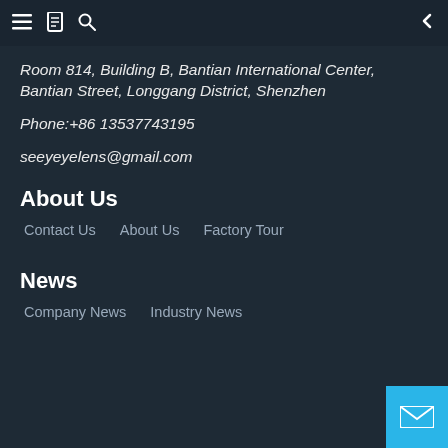≡  📋  🔍  ←
Room 814, Building B, Bantian International Center, Bantian Street, Longgang District, Shenzhen
Phone:+86 13537743195
seeyeyelens@gmail.com
About Us
Contact Us
About Us
Factory Tour
News
Company News
Industry News